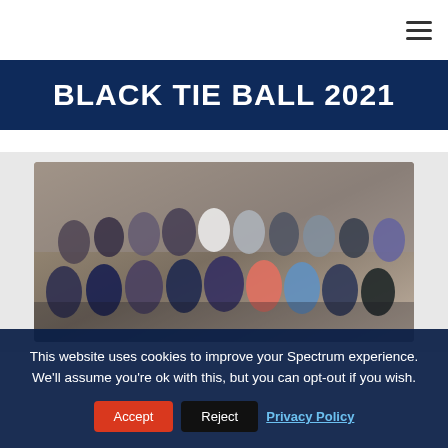≡ (hamburger menu)
BLACK TIE BALL 2021
[Figure (photo): Group photo of approximately 30 people dressed in formal attire (black tie), posing together indoors at the Black Tie Ball 2021 event.]
This website uses cookies to improve your Spectrum experience. We'll assume you're ok with this, but you can opt-out if you wish.
Accept  Reject  Privacy Policy